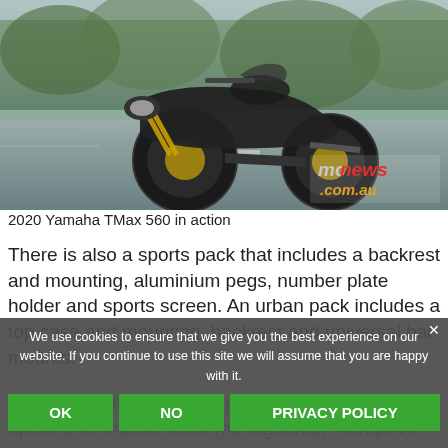[Figure (photo): 2020 Yamaha TMax 560 motorcycle in action on a road, front-left view, motion blur background. mcnews.com.au watermark in bottom right corner.]
2020 Yamaha TMax 560 in action
There is also a sports pack that includes a backrest and mounting, aluminium pegs, number plate holder and sports screen. An urban pack includes a top case and mounting, backrest and universal bar mounts.
Finally, a winter pack comprise of heated grips, apron and knuckle visor (handguards). Akrapovic produces silencers with a choice of two finishes for the new model and there is a range of detail accessories including…
We use cookies to ensure that we give you the best experience on our website. If you continue to use this site we will assume that you are happy with it.